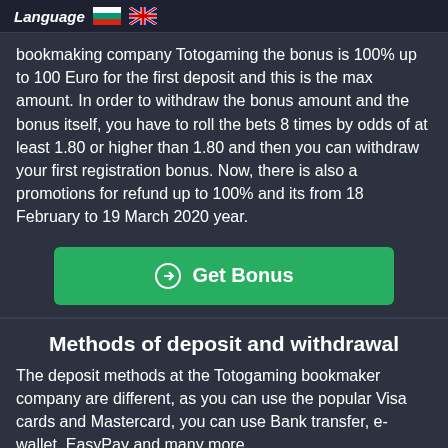Language 🇧🇬 🇬🇧
bookmaking company Totogaming the bonus is 100% up to 100 Euro for the first deposit and this is the max amount. In order to withdraw the bonus amount and the bonus itself, you have to roll the bets 8 times by odds of at least 1.80 or higher than 1.80 and then you can withdraw your first registration bonus. Now, there is also a promotions for refund up to 100% and its from 18 February to 19 March 2020 year.
[Figure (other): Green 'Get Bonus' button with arrow-circle icon]
Methods of deposit and withdrawal
The deposit methods at the Totogaming bookmaker company are different, as you can use the popular Visa cards and Mastercard, you can use Bank transfer, e-wallet, EasyPay and many more.
Mobile version